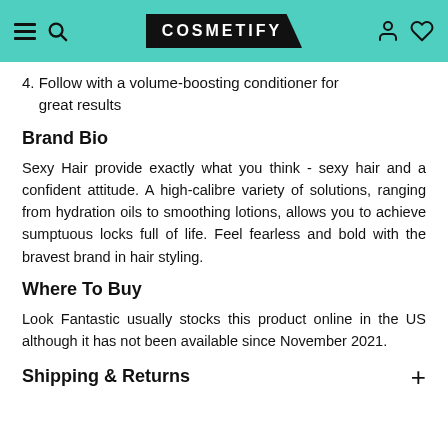COSMETIFY
4. Follow with a volume-boosting conditioner for great results
Brand Bio
Sexy Hair provide exactly what you think - sexy hair and a confident attitude. A high-calibre variety of solutions, ranging from hydration oils to smoothing lotions, allows you to achieve sumptuous locks full of life. Feel fearless and bold with the bravest brand in hair styling.
Where To Buy
Look Fantastic usually stocks this product online in the US although it has not been available since November 2021.
Shipping & Returns